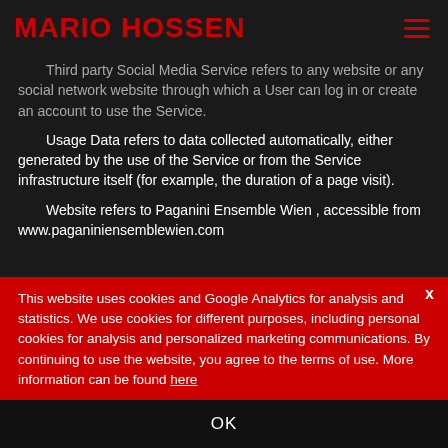MARIO HOSSEN
Third party Social Media Service refers to any website or any social network website through which a User can log in or create an account to use the Service.
Usage Data refers to data collected automatically, either generated by the use of the Service or from the Service infrastructure itself (for example, the duration of a page visit).
Website refers to Paganini Ensemble Wien , accessible from www.paganiniensemblewien.com
This website uses cookies and Google Analytics for analysis and statistics. We use cookies for different purposes, including personal cookies for analysis and personalized marketing communications. By continuing to use the website, you agree to the terms of use. More information can be found here
OK